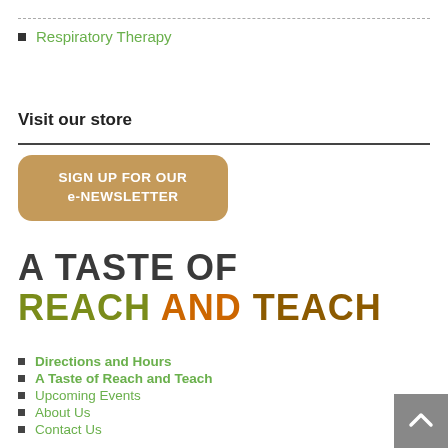Respiratory Therapy
Visit our store
[Figure (illustration): Brown rounded-rectangle button reading 'SIGN UP FOR OUR e-NEWSLETTER' in white bold text]
[Figure (logo): A Taste of Reach and Teach logo — large bold dark text 'A TASTE OF' above colored bold text 'REACH AND TEACH']
Directions and Hours
A Taste of Reach and Teach
Upcoming Events
About Us
Contact Us